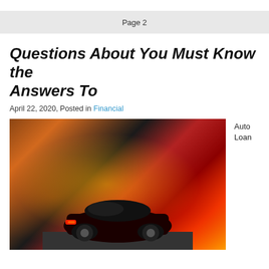Page 2
Questions About You Must Know the Answers To
April 22, 2020, Posted in Financial
[Figure (photo): Photo of a dark red sports car (Audi) on a city street at sunset/dusk, with bokeh lights and traffic in background. Tail lights glowing red.]
Auto Loan